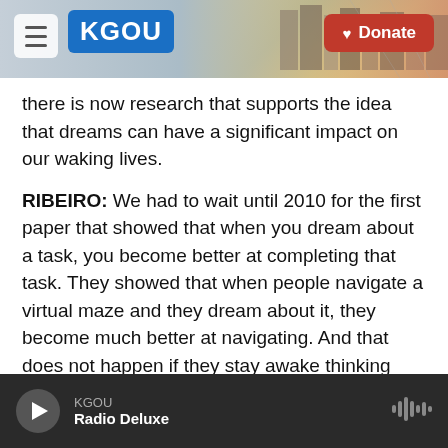[Figure (screenshot): KGOU radio website header bar with hamburger menu button, KGOU blue logo, city skyline background photo, and red Donate button]
there is now research that supports the idea that dreams can have a significant impact on our waking lives.
RIBEIRO: We had to wait until 2010 for the first paper that showed that when you dream about a task, you become better at completing that task. They showed that when people navigate a virtual maze and they dream about it, they become much better at navigating. And that does not happen if they stay awake thinking about the maze or if they sleep without dreaming about the maze. To dream about something has a lot to do with succeeding in
KGOU · Radio Deluxe